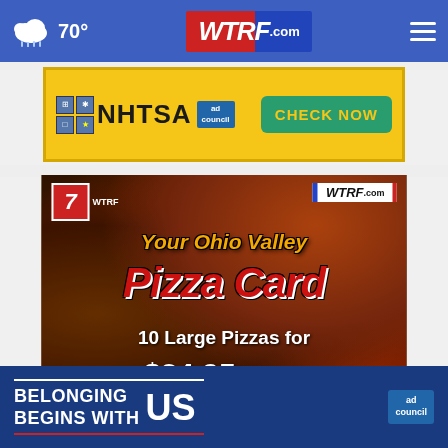70° WTRF.com navigation bar
[Figure (screenshot): NHTSA advertisement banner with yellow background, NHTSA logo, ad council badge, and CHECK NOW green button]
[Figure (screenshot): Your Ohio Valley Pizza Card advertisement - 10 Large Pizzas for $24.95, with WTRF Channel 7 branding on pizza background image]
[Figure (screenshot): Belonging Begins With US ad council advertisement on dark blue background]